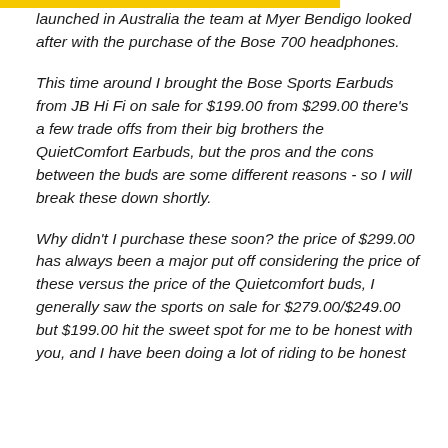launched in Australia the team at Myer Bendigo looked after with the purchase of the Bose 700 headphones.
This time around I brought the Bose Sports Earbuds from JB Hi Fi on sale for $199.00 from $299.00 there's a few trade offs from their big brothers the QuietComfort Earbuds, but the pros and the cons between the buds are some different reasons - so I will break these down shortly.
Why didn't I purchase these soon? the price of $299.00 has always been a major put off considering the price of these versus the price of the Quietcomfort buds, I generally saw the sports on sale for $279.00/$249.00 but $199.00 hit the sweet spot for me to be honest with you, and I have been doing a lot of riding to be honest